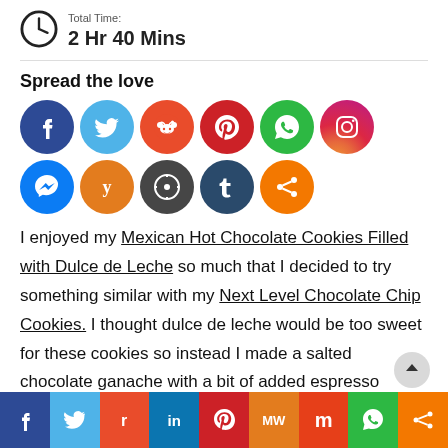Total Time: 2 Hr 40 Mins
[Figure (infographic): Row of social media share buttons (Facebook, Twitter, Reddit, Pinterest, WhatsApp, Instagram, Messenger, Yummly, WordPress, Tumblr, and a Share button) under 'Spread the love' heading]
Spread the love
I enjoyed my Mexican Hot Chocolate Cookies Filled with Dulce de Leche so much that I decided to try something similar with my Next Level Chocolate Chip Cookies. I thought dulce de leche would be too sweet for these cookies so instead I made a salted chocolate ganache with a bit of added espresso powder. The results were amazing!
[Figure (infographic): Bottom bar with social share buttons: Facebook, Twitter, Reddit, LinkedIn, Pinterest, MW, Mix, WhatsApp, Share]